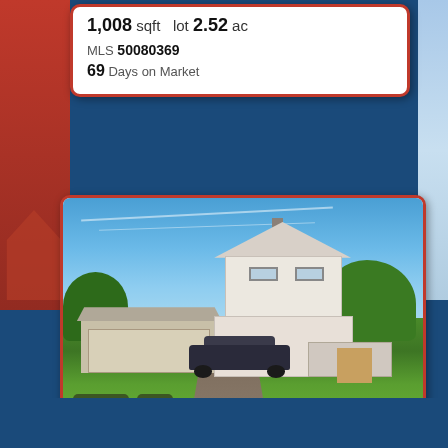1,008 sqft  lot 2.52 ac
MLS 50080369
69 Days on Market
[Figure (photo): Exterior photo of a white two-story house with detached garage, front porch with stairs, car parked in driveway, green lawn, blue sky. Shows 25 photos count badge and heart/save icon. UPMLS.com watermark.]
415 Oswald
Crystal Falls, MI
$62,500